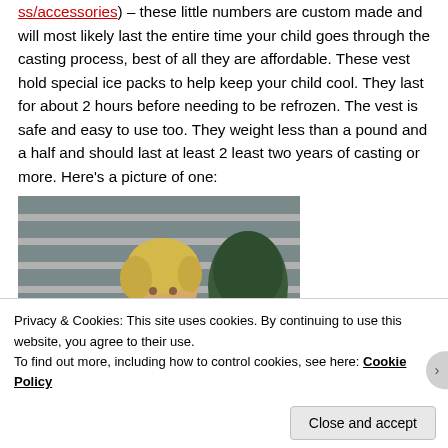ss/accessories) – these little numbers are custom made and will most likely last the entire time your child goes through the casting process, best of all they are affordable. These vest hold special ice packs to help keep your child cool. They last for about 2 hours before needing to be refrozen. The vest is safe and easy to use too. They weight less than a pound and a half and should last at least 2 least two years of casting or more. Here's a picture of one:
[Figure (photo): A young blonde child wearing a blue cooling vest, sitting outdoors with a dark green egg-shaped grill and wooden fence slats in the background.]
Privacy & Cookies: This site uses cookies. By continuing to use this website, you agree to their use.
To find out more, including how to control cookies, see here: Cookie Policy